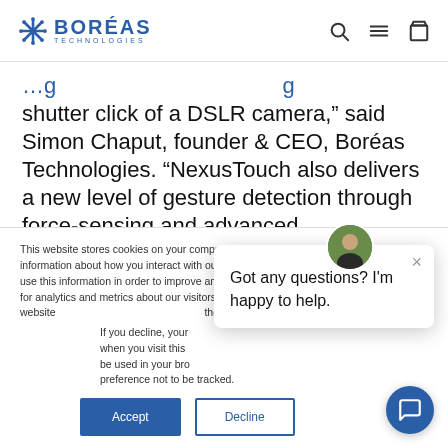BORÉAS TECHNOLOGIES
shutter click of a DSLR camera," said Simon Chaput, founder & CEO, Boréas Technologies. “NexusTouch also delivers a new level of gesture detection through force-sensing and advanced
This website stores cookies on your computer. These cookies are used to collect information about how you interact with our website and allow us to remember you. We use this information in order to improve and customize your browsing experience and for analytics and metrics about our visitors both on this website and allow us to remember you. We use this information in order to improve the cookies we use, see our Pri
If you decline, your information won't be tracked when you visit this website. A single cookie will be used in your browser to remember your preference not to be tracked.
Got any questions? I'm happy to help.
Accept
Decline